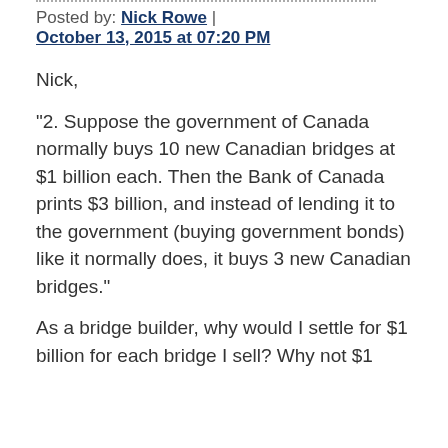Posted by: Nick Rowe | October 13, 2015 at 07:20 PM
Nick,
"2. Suppose the government of Canada normally buys 10 new Canadian bridges at $1 billion each. Then the Bank of Canada prints $3 billion, and instead of lending it to the government (buying government bonds) like it normally does, it buys 3 new Canadian bridges."
As a bridge builder, why would I settle for $1 billion for each bridge I sell? Why not $1